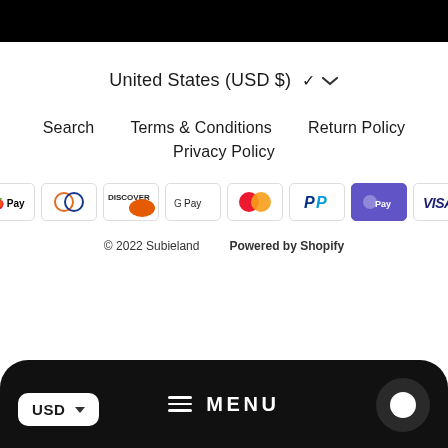United States (USD $) ▾
Search
Terms & Conditions
Return Policy
Privacy Policy
[Figure (other): Payment method icons: Apple Pay, Diners Club, Discover, Google Pay, Mastercard, PayPal, Shop Pay, Visa]
© 2022 Subieland   Powered by Shopify
[Figure (other): Mobile navigation bar with USD currency selector, MENU button with hamburger icon, and chat bubble button]